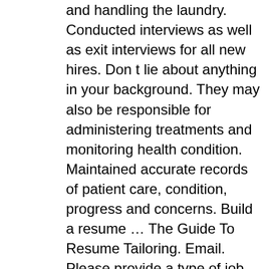and handling the laundry. Conducted interviews as well as exit interviews for all new hires. Don t lie about anything in your background. They may also be responsible for administering treatments and monitoring health condition. Maintained accurate records of patient care, condition, progress and concerns. Build a resume … The Guide To Resume Tailoring. Email. Please provide a type of job or location to search! Job-winning templates to showcase professionalism, dependability and expertise. Displayed here are Job Ads that match your query. 20+ medtech resume samples to customize for your own use. Completes a daily log of the children in care and provide written documentation of behavior variances. Empathy. Your resume title. To obtain a permanent position utilizing my abilities from previous experience and training. Try Now! Checked patient vitals such as temperature, blood pressure and blood sugar to stay on top of symptoms and keep, Delivered individualized patient care by recording vital signs, documenting observations, administering. Skills : Microsoft Office Suites, Typing 60 Wpm, Customer Service Skills, Medical Terminology